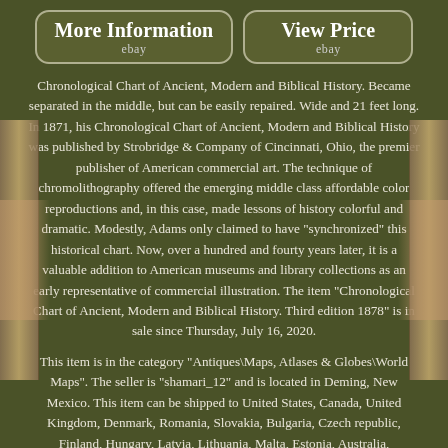[Figure (other): Two buttons: 'More Information / ebay' and 'View Price / ebay']
Chronological Chart of Ancient, Modern and Biblical History. Became separated in the middle, but can be easily repaired. Wide and 21 feet long. In 1871, his Chronological Chart of Ancient, Modern and Biblical History was published by Strobridge & Company of Cincinnati, Ohio, the premier publisher of American commercial art. The technique of chromolithography offered the emerging middle class affordable color reproductions and, in this case, made lessons of history colorful and dramatic. Modestly, Adams only claimed to have "synchronized" this historical chart. Now, over a hundred and fourty years later, it is a valuable addition to American museums and library collections as an early representative of commercial illustration. The item "Chronological Chart of Ancient, Modern and Biblical History. Third edition 1878" is in sale since Thursday, July 16, 2020.
This item is in the category "Antiques\Maps, Atlases & Globes\World Maps". The seller is "shamari_12" and is located in Deming, New Mexico. This item can be shipped to United States, Canada, United Kingdom, Denmark, Romania, Slovakia, Bulgaria, Czech republic, Finland, Hungary, Latvia, Lithuania, Malta, Estonia, Australia,